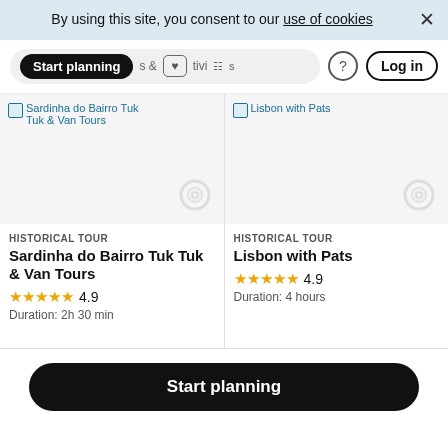By using this site, you consent to our use of cookies
[Figure (screenshot): Navigation bar with Start planning pill button, heart/grid icons, question mark icon, and Log in button]
[Figure (screenshot): Tour card for Sardinha do Bairro Tuk Tuk & Van Tours - HISTORICAL TOUR, rating 4.9 stars, Duration: 2h 30 min]
[Figure (screenshot): Tour card for Lisbon with Pats - HISTORICAL TOUR, rating 4.9 stars, Duration: 4 hours]
Start planning